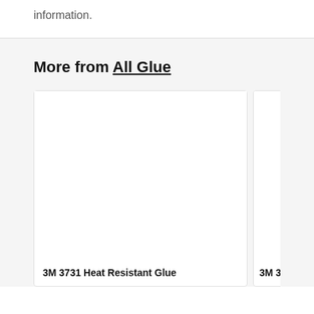information.
More from All Glue
[Figure (other): Product card for 3M 3731 Heat Resistant Glue - white empty card area]
3M 3731 Heat Resistant Glue
[Figure (other): Product card for 3M 3738 Glue Stick - partially visible white card]
3M 3738 Glue Stick